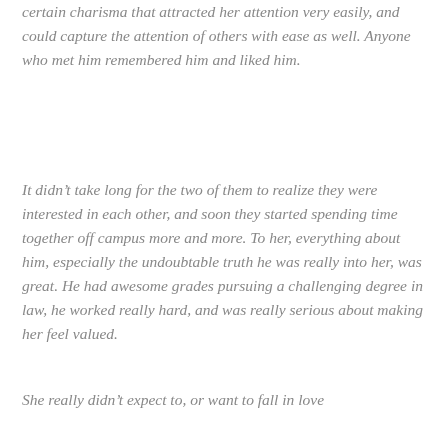certain charisma that attracted her attention very easily, and could capture the attention of others with ease as well. Anyone who met him remembered him and liked him.
It didn't take long for the two of them to realize they were interested in each other, and soon they started spending time together off campus more and more. To her, everything about him, especially the undoubtable truth he was really into her, was great. He had awesome grades pursuing a challenging degree in law, he worked really hard, and was really serious about making her feel valued.
She really didn't expect to, or want to fall in love while actually about the consequences in it...